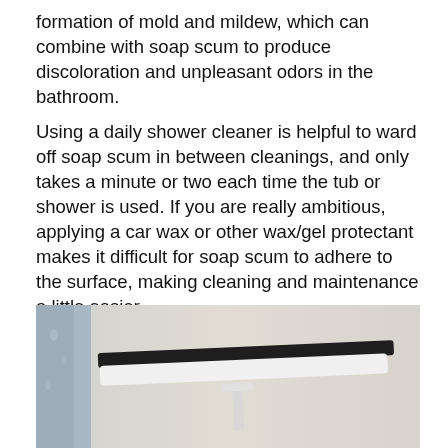formation of mold and mildew, which can combine with soap scum to produce discoloration and unpleasant odors in the bathroom.
Using a daily shower cleaner is helpful to ward off soap scum in between cleanings, and only takes a minute or two each time the tub or shower is used. If you are really ambitious, applying a car wax or other wax/gel protectant makes it difficult for soap scum to adhere to the surface, making cleaning and maintenance a little easier.
[Figure (photo): A squeegee with a dark blade and white rubber edge, photographed against a light beige/gray background with a tiled surface visible on the left side.]